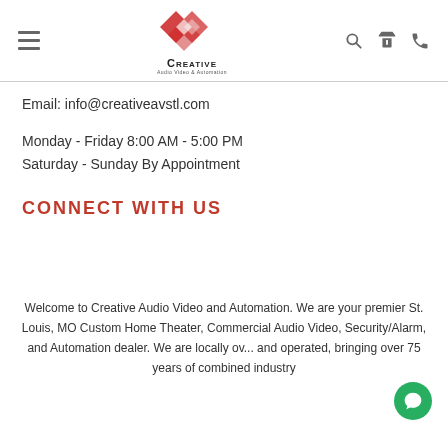Creative Audio Video & Automation — navigation header with logo, search, cart, phone icons
Email: info@creativeavstl.com
Monday - Friday 8:00 AM - 5:00 PM
Saturday - Sunday By Appointment
CONNECT WITH US
Welcome to Creative Audio Video and Automation. We are your premier St. Louis, MO Custom Home Theater, Commercial Audio Video, Security/Alarm, and Automation dealer. We are locally ow... and operated, bringing over 75 years of combined industry